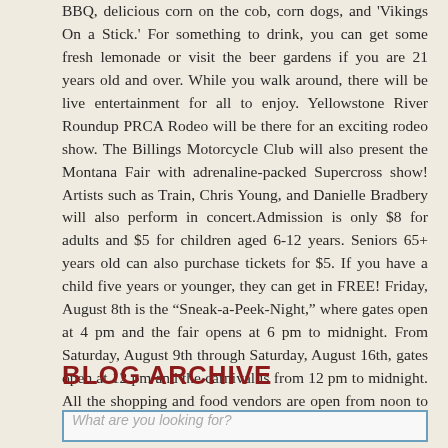BBQ, delicious corn on the cob, corn dogs, and 'Vikings On a Stick.' For something to drink, you can get some fresh lemonade or visit the beer gardens if you are 21 years old and over. While you walk around, there will be live entertainment for all to enjoy. Yellowstone River Roundup PRCA Rodeo will be there for an exciting rodeo show. The Billings Motorcycle Club will also present the Montana Fair with adrenaline-packed Supercross show! Artists such as Train, Chris Young, and Danielle Bradbery will also perform in concert.Admission is only $8 for adults and $5 for children aged 6-12 years. Seniors 65+ years old can also purchase tickets for $5. If you have a child five years or younger, they can get in FREE! Friday, August 8th is the “Sneak-a-Peek-Night,” where gates open at 4 pm and the fair opens at 6 pm to midnight. From Saturday, August 9th through Saturday, August 16th, gates open at 12 pm and the carnival is from 12 pm to midnight. All the shopping and food vendors are open from noon to 11 pm.
BLOG ARCHIVE
What are you looking for?